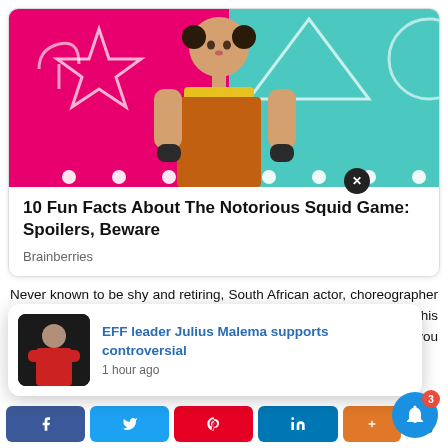[Figure (screenshot): Squid Game promotional image showing the large robotic doll character in orange dress and yellow shirt, with pink background featuring geometric shapes (star, triangle, circle) and glittery white outlines]
10 Fun Facts About The Notorious Squid Game: Spoilers, Beware
Brainberries
Never known to be shy and retiring, South African actor, choreographer and media star, Somizi Buyani Mhlongo-Motaung, chose to ditch his true colours in favour of hot pink experience. We'll out if you wish
[Figure (screenshot): News notification popup showing: thumbnail image of man in red shirt with arms crossed, headline 'EFF leader Julius Malema supports controversial', timestamp '1 hour ago']
[Figure (other): Social share buttons row: Facebook, Twitter, Pinterest, LinkedIn, orange more button, share icon, and blue bell notification button with red badge showing '3']